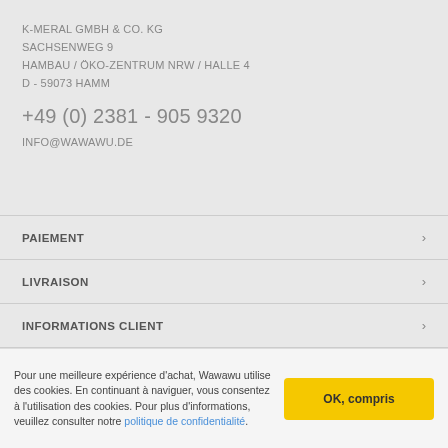K-MERAL GMBH & CO. KG
SACHSENWEG 9
HAMBAU / ÖKO-ZENTRUM NRW / HALLE 4
D - 59073 HAMM
+49 (0) 2381 - 905 9320
INFO@WAWAWU.DE
PAIEMENT
LIVRAISON
INFORMATIONS CLIENT
INTIMITÉ
Pour une meilleure expérience d'achat, Wawawu utilise des cookies. En continuant à naviguer, vous consentez à l'utilisation des cookies. Pour plus d'informations, veuillez consulter notre politique de confidentialité.